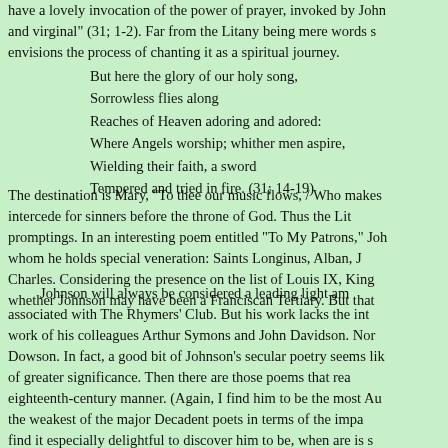have a lovely invocation of the power of prayer, invoked by John and virginal" (31; 1-2). Far from the Litany being mere words s envisions the process of chanting it as a spiritual journey.
But here the glory of our holy song,
Sorrowless flies along
Reaches of Heaven adoring and adored:
Where Angels worship; whither men aspire,
Wielding their faith, a sword
Tempered and tried in fire. (31; 14-19)
The destination is Mary, "To thee our music flows, / Who makes intercede for sinners before the throne of God. Thus the Lit promptings. In an interesting poem entitled "To My Patrons," Joh whom he holds special veneration: Saints Longinus, Alban, J Charles. Considering the presence on the list of Louis IX, King whether Johnson may have been a Franciscan Tertiary. But that
Johnson will always be considered a leading light am associated with The Rhymers' Club. But his work lacks the int work of his colleagues Arthur Symons and John Davidson. Nor Dowson. In fact, a good bit of Johnson's secular poetry seems lik of greater significance. Then there are those poems that rea eighteenth-century manner. (Again, I find him to be the most Au the weakest of the major Decadent poets in terms of the impa find it especially delightful to discover him to be, when are is s group. (As opposed to the great mystical poet, a role that has a who have had trouble getting a handle upon the corpus of Jo